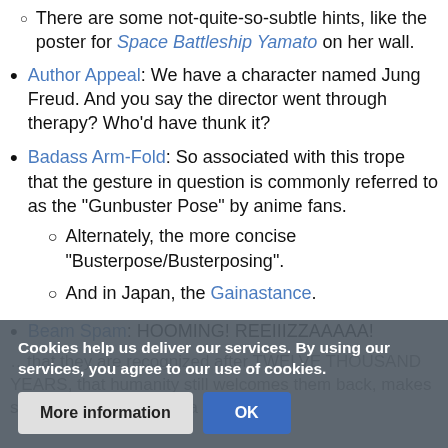There are some not-quite-so-subtle hints, like the poster for Space Battleship Yamato on her wall.
Author Appeal: We have a character named Jung Freud. And you say the director went through therapy? Who'd have thunk it?
Badass Arm-Fold: So associated with this trope that the gesture in question is commonly referred to as the "Gunbuster Pose" by anime fans.
Alternately, the more concise "Busterpose/Busterposing".
And in Japan, the Gainastance.
Beam Spam: HOOMING! REEIIIZZAAAAA!
Cookies help us deliver our services. By using our services, you agree to our use of cookies.